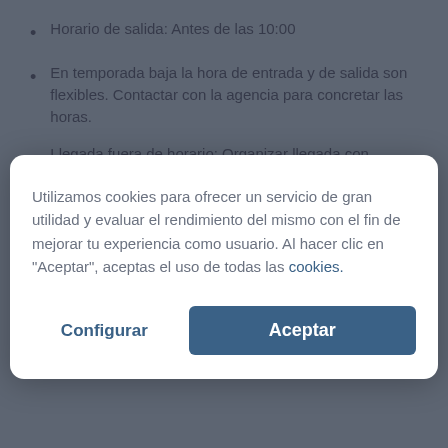Horario de salida: Antes de las 10:00
En temporada baja la hora de entrada y de salida son flexibles. Contactar con la agencia para concretar las horas.
Llegada fuera de horario: Organizar llegada con agencia en destino. Se ha de abonar la totalidad de la
Utilizamos cookies para ofrecer un servicio de gran utilidad y evaluar el rendimiento del mismo con el fin de mejorar tu experiencia como usuario. Al hacer clic en "Aceptar", aceptas el uso de todas las cookies.
Configurar
Aceptar